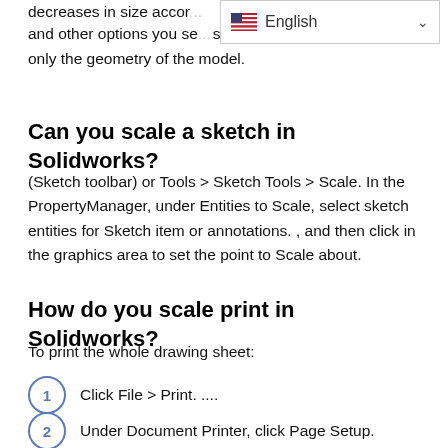decreases in size accor... and other options you se...s only the geometry of the model.
[Figure (screenshot): English language selector dropdown UI element with US flag]
Can you scale a sketch in Solidworks?
(Sketch toolbar) or Tools > Sketch Tools > Scale. In the PropertyManager, under Entities to Scale, select sketch entities for Sketch item or annotations. , and then click in the graphics area to set the point to Scale about.
How do you scale print in Solidworks?
To print the whole drawing sheet:
Click File > Print. ....
Under Document Printer, click Page Setup.
In the Page Setup dialog box, under Resolution and Scale, select Scale to fit the options, then...